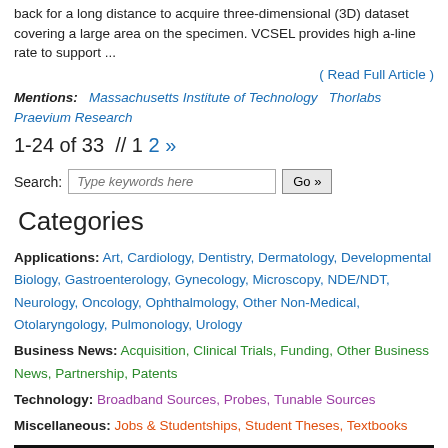back for a long distance to acquire three-dimensional (3D) dataset covering a large area on the specimen. VCSEL provides high a-line rate to support ...
( Read Full Article )
Mentions: Massachusetts Institute of Technology  Thorlabs  Praevium Research
1-24 of 33  // 1 2 »
Search: [Type keywords here] Go »
Categories
Applications: Art, Cardiology, Dentistry, Dermatology, Developmental Biology, Gastroenterology, Gynecology, Microscopy, NDE/NDT, Neurology, Oncology, Ophthalmology, Other Non-Medical, Otolaryngology, Pulmonology, Urology
Business News: Acquisition, Clinical Trials, Funding, Other Business News, Partnership, Patents
Technology: Broadband Sources, Probes, Tunable Sources
Miscellaneous: Jobs & Studentships, Student Theses, Textbooks
[Figure (photo): Dark banner image at bottom of page]